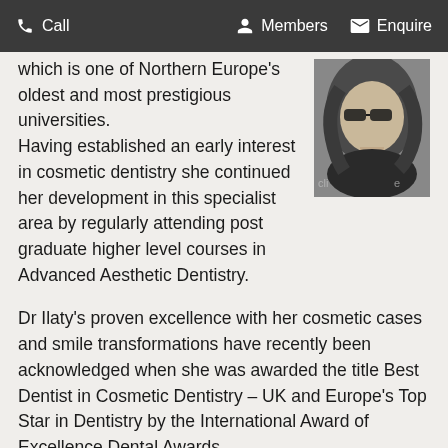Call   Members   Enquire
[Figure (photo): Black and white portrait photo of a woman with wavy hair, cropped at shoulder level, with partial clinic branding visible]
which is one of Northern Europe's oldest and most prestigious universities.
Having established an early interest in cosmetic dentistry she continued her development in this specialist area by regularly attending post graduate higher level courses in Advanced Aesthetic Dentistry.
Dr Ilaty's proven excellence with her cosmetic cases and smile transformations have recently been acknowledged when she was awarded the title Best Dentist in Cosmetic Dentistry – UK and Europe's Top Star in Dentistry by the International Award of Excellence Dental Awards
Dr Ilaty has also specialised her interest in dental implants. Further to completing her Certificate in Implantology at the prestigious Eastman Dental Hospital, she has undertaken an advanced diploma